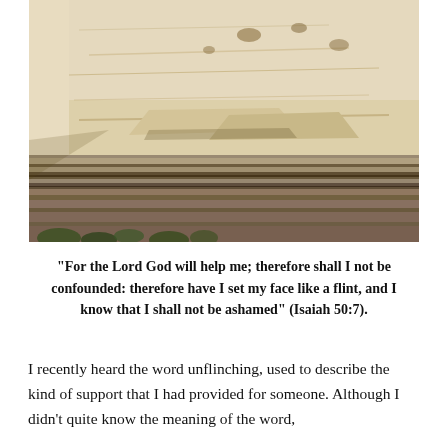[Figure (photo): Photograph of a large limestone or sandstone cliff face with layered sedimentary rock strata. The upper portion shows a pale cream/beige cliff wall under a light blue sky; the lower section shows horizontal rock layers and strata in grey and brown tones. Some shrubs are visible at the base of the rock formation.]
“For the Lord God will help me; therefore shall I not be confounded: therefore have I set my face like a flint, and I know that I shall not be ashamed” (Isaiah 50:7).
I recently heard the word unflinching, used to describe the kind of support that I had provided for someone. Although I didn’t quite know the meaning of the word,